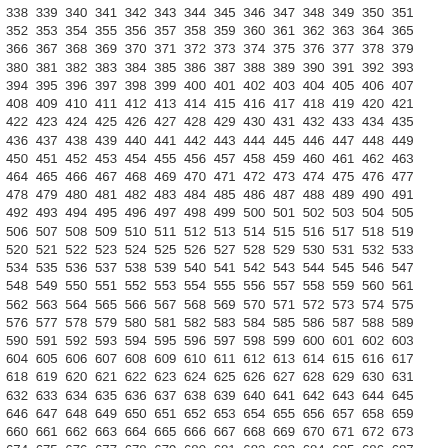338 339 340 341 342 343 344 345 346 347 348 349 350 351 352 353 354 355 356 357 358 359 360 361 362 363 364 365 366 367 368 369 370 371 372 373 374 375 376 377 378 379 380 381 382 383 384 385 386 387 388 389 390 391 392 393 394 395 396 397 398 399 400 401 402 403 404 405 406 407 408 409 410 411 412 413 414 415 416 417 418 419 420 421 422 423 424 425 426 427 428 429 430 431 432 433 434 435 436 437 438 439 440 441 442 443 444 445 446 447 448 449 450 451 452 453 454 455 456 457 458 459 460 461 462 463 464 465 466 467 468 469 470 471 472 473 474 475 476 477 478 479 480 481 482 483 484 485 486 487 488 489 490 491 492 493 494 495 496 497 498 499 500 501 502 503 504 505 506 507 508 509 510 511 512 513 514 515 516 517 518 519 520 521 522 523 524 525 526 527 528 529 530 531 532 533 534 535 536 537 538 539 540 541 542 543 544 545 546 547 548 549 550 551 552 553 554 555 556 557 558 559 560 561 562 563 564 565 566 567 568 569 570 571 572 573 574 575 576 577 578 579 580 581 582 583 584 585 586 587 588 589 590 591 592 593 594 595 596 597 598 599 600 601 602 603 604 605 606 607 608 609 610 611 612 613 614 615 616 617 618 619 620 621 622 623 624 625 626 627 628 629 630 631 632 633 634 635 636 637 638 639 640 641 642 643 644 645 646 647 648 649 650 651 652 653 654 655 656 657 658 659 660 661 662 663 664 665 666 667 668 669 670 671 672 673 674 675 676 677 678 679 680 681 682 683 684 685 686 687 688 689 690 691 692 693 694 695 696 697 698 699 700 701 702 703 704 705 706 707 708 709 710 711 712 713 714 715 716 717 718 719 720 721 722 723 724 725 726 727 728 729 730 731 732 733 734 735 736 737 738 739 740 741 742 743 744 745 746 747 748 749 750 751 752 753 754 755 756 757 758 759 760 761 762 763 764 765 766 767 768 769 770 771 772 773 774 775 776 777 778 779 780 781 782 783 784 785 786 787 788 789 790 791 792 793 794 795 796 797 798 799 800 801 802 803 804 805 806 807 808 809 810 811 812 813 814 815 816 817 818 819 820 821 822 823 824 825 826 827 828 829 830 831 832 833 834 835 836 837 838 839 840 841 842 843 844 845 846 847